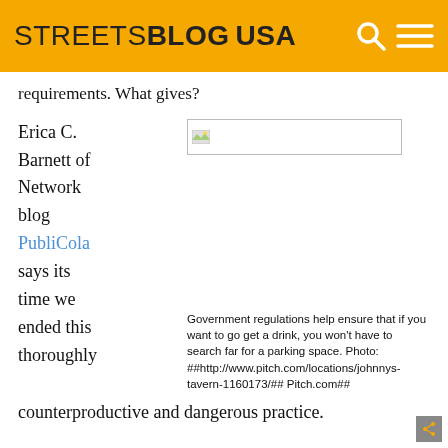STREETSBLOG USA
requirements. What gives?
Erica C. Barnett of Network blog PubliCola says its time we ended this thoroughly
[Figure (photo): Broken/placeholder image thumbnail]
Government regulations help ensure that if you want to go get a drink, you won't have to search far for a parking space. Photo: ##http://www.pitch.com/locations/johnnys-tavern-1160173/## Pitch.com##
counterproductive and dangerous practice.